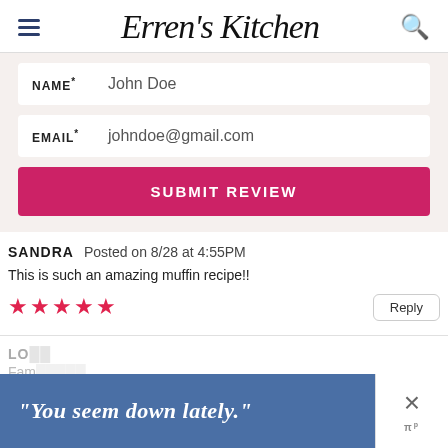Erren's Kitchen
NAME* John Doe
EMAIL* johndoe@gmail.com
SUBMIT REVIEW
SANDRA  Posted on 8/28 at 4:55PM
This is such an amazing muffin recipe!!
★★★★★
LO... Fam...
[Figure (screenshot): Advertisement banner reading "You seem down lately." with a blue background, close X button, and brand logo on the right side.]